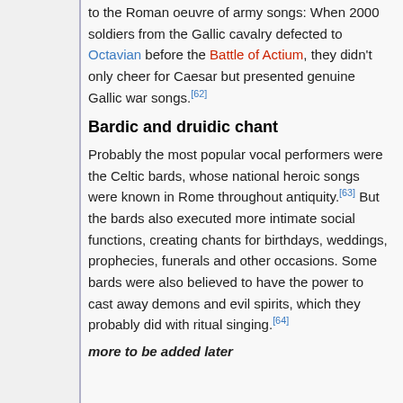to the Roman oeuvre of army songs: When 2000 soldiers from the Gallic cavalry defected to Octavian before the Battle of Actium, they didn't only cheer for Caesar but presented genuine Gallic war songs.[62]
Bardic and druidic chant
Probably the most popular vocal performers were the Celtic bards, whose national heroic songs were known in Rome throughout antiquity.[63] But the bards also executed more intimate social functions, creating chants for birthdays, weddings, prophecies, funerals and other occasions. Some bards were also believed to have the power to cast away demons and evil spirits, which they probably did with ritual singing.[64]
more to be added later